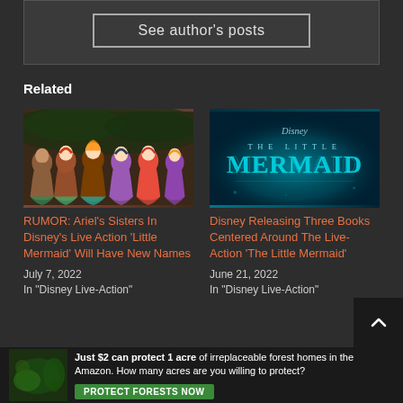See author's posts
Related
[Figure (photo): Animated illustration of Ariel's sisters from The Little Mermaid — group of mermaid characters]
RUMOR: Ariel's Sisters In Disney's Live Action 'Little Mermaid' Will Have New Names
July 7, 2022
In "Disney Live-Action"
[Figure (photo): Disney The Little Mermaid logo on teal/dark background]
Disney Releasing Three Books Centered Around The Live-Action 'The Little Mermaid'
June 21, 2022
In "Disney Live-Action"
Just $2 can protect 1 acre of irreplaceable forest homes in the Amazon. How many acres are you willing to protect?
PROTECT FORESTS NOW